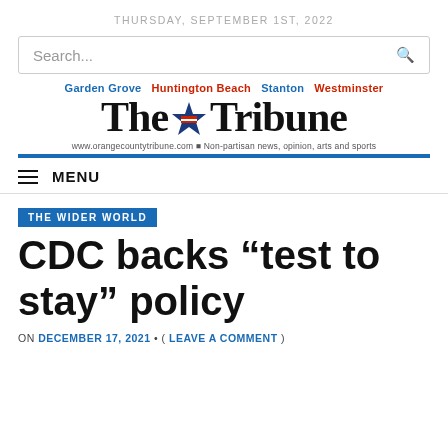THURSDAY, SEPTEMBER 1ST, 2022
[Figure (screenshot): Search bar with search icon]
[Figure (logo): The Tribune newspaper logo with city names Garden Grove, Huntington Beach, Stanton, Westminster and tagline www.orangecountytribune.com Non-partisan news, opinion, arts and sports]
MENU
THE WIDER WORLD
CDC backs “test to stay” policy
ON DECEMBER 17, 2021 • ( LEAVE A COMMENT )